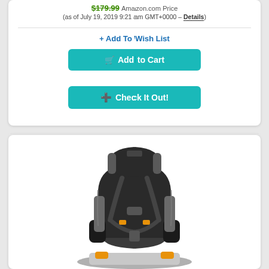$179.99 Amazon.com Price
(as of July 19, 2019 9:21 am GMT+0000 – Details)
+ Add To Wish List
Add to Cart
Check It Out!
[Figure (photo): A dark gray/black child car seat (Chicco brand) with orange accents, harness straps, armrests, and a 5-point harness system, shown at an angle on a white background.]